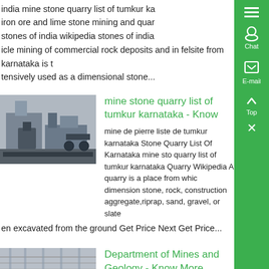india mine stone quarry list of tumkur ka iron ore and lime stone mining and quarry stones of india wikipedia stones of india ...icle mining of commercial rock deposits and in felsite from karnataka is t...tensively used as a dimensional stone...
mine stone quarry list of tumkur karnataka - Know
mine de pierre liste de tumkur karnataka Stone Quarry List Of Karnataka mine stone quarry list of tumkur karnataka Quarry Wikipedia A quarry is a place from which dimension stone, rock, construction aggregate,riprap, sand, gravel, or slate ...en excavated from the ground Get Price Next Get Price...
Department of Mines and Geology - Know More
Sep 23, 2020 0183 32 9916178852 Sri Siddeshwara St Crusher Bangalore Nor...